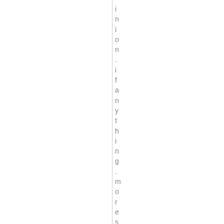inion. if anything. more so ...